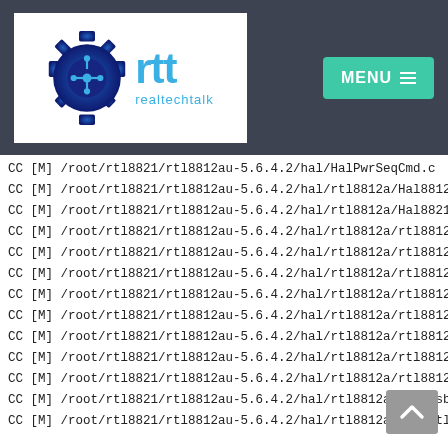[Figure (logo): realtechtalk logo with gear/circuit icon and 'rtt realtechtalk' text in blue, on white background]
[Figure (other): Green MENU button with hamburger icon lines]
CC [M] /root/rtl8821/rtl8812au-5.6.4.2/hal/HalPwrSeqCmd.c
CC [M] /root/rtl8821/rtl8812au-5.6.4.2/hal/rtl8812a/Hal8812...
CC [M] /root/rtl8821/rtl8812au-5.6.4.2/hal/rtl8812a/Hal8821...
CC [M] /root/rtl8821/rtl8812au-5.6.4.2/hal/rtl8812a/rtl8812a...
CC [M] /root/rtl8821/rtl8812au-5.6.4.2/hal/rtl8812a/rtl8812a...
CC [M] /root/rtl8821/rtl8812au-5.6.4.2/hal/rtl8812a/rtl8812a...
CC [M] /root/rtl8821/rtl8812au-5.6.4.2/hal/rtl8812a/rtl8812a...
CC [M] /root/rtl8821/rtl8812au-5.6.4.2/hal/rtl8812a/rtl8812a...
CC [M] /root/rtl8821/rtl8812au-5.6.4.2/hal/rtl8812a/rtl8812a...
CC [M] /root/rtl8821/rtl8812au-5.6.4.2/hal/rtl8812a/rtl8812a...
CC [M] /root/rtl8821/rtl8812au-5.6.4.2/hal/rtl8812a/rtl8812a...
CC [M] /root/rtl8821/rtl8812au-5.6.4.2/hal/rtl8812a/usb/usb...
CC [M] /root/rtl8821/rtl8812au-5.6.4.2/hal/rtl8812a/usb/rtl8...